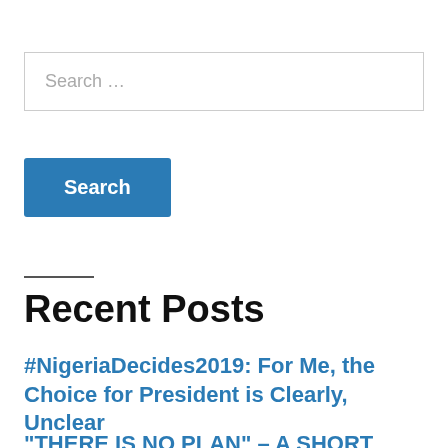Search …
Search
Recent Posts
#NigeriaDecides2019: For Me, the Choice for President is Clearly, Unclear
“THERE IS NO PLAN” – A SHORT